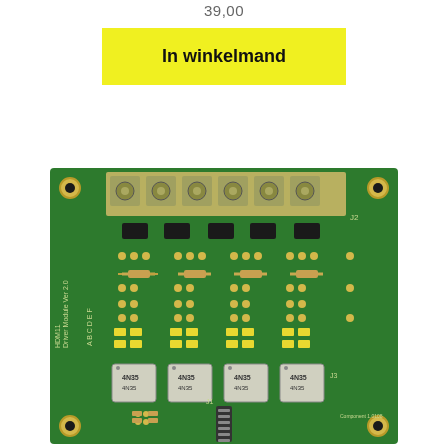39,00
In winkelmand
[Figure (photo): Green PCB circuit board labeled HDM11 Driver Module Ver 2.0, showing terminal block connectors at top, resistors, optocouplers (4N35), and a multi-pin connector (J1) at the bottom.]